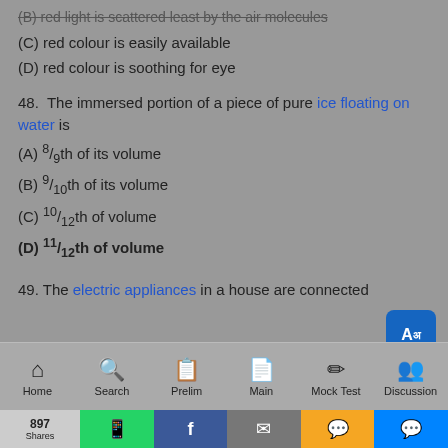(B) red light is scattered least by the air molecules
(C) red colour is easily available
(D) red colour is soothing for eye
48.  The immersed portion of a piece of pure ice floating on water is
(A) 8/9th of its volume
(B) 9/10th of its volume
(C) 10/12th of volume
(D) 11/12th of volume
49. The electric appliances in a house are connected
Home  Search  Prelim  Main  Mock Test  Discussion